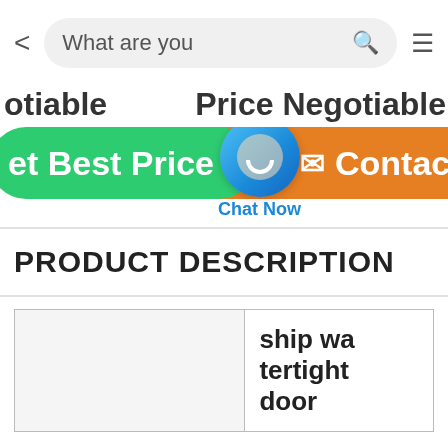[Figure (screenshot): Mobile app navigation bar with back arrow, search box reading 'What are you', search icon, and hamburger menu icon]
otiable   Price Negotiable
[Figure (screenshot): Green 'Get Best Price' button on left, orange 'Contact' button on right, with blue chat bubble overlay labeled 'Chat Now']
PRODUCT DESCRIPTION
|  | ship wa tertight door |